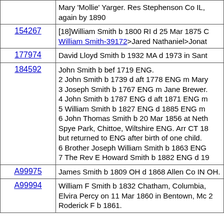| ID | Description |
| --- | --- |
|  | Mary 'Mollie' Yarger. Res Stephenson Co IL, again by 1890 |
| 154267 | [18]William Smith b 1800 RI d 25 Mar 1875 C William Smith-39172>Jared Nathaniel>Jonat |
| 177974 | David Lloyd Smith b 1932 MA d 1973 in Sant |
| 184592 | John Smith b bef 1719 ENG. 2 John Smith b 1739 d aft 1778 ENG m Mary 3 Joseph Smith b 1767 ENG m Jane Brewer. 4 John Smith b 1787 ENG d aft 1871 ENG m 5 William Smith b 1827 ENG d 1885 ENG m 6 John Thomas Smith b 20 Mar 1856 at Neth Spye Park, Chittoe, Wiltshire ENG. Arr CT 18 but returned to ENG after birth of one child. 6 Brother Joseph William Smith b 1863 ENG 7 The Rev E Howard Smith b 1882 ENG d 19 |
| A99975 | James Smith b 1809 OH d 1868 Allen Co IN OH. |
| A99994 | William F Smith b 1832 Chatham, Columbia, Elvira Percy on 11 Mar 1860 in Bentown, Mc 2 Roderick F b 1861. |